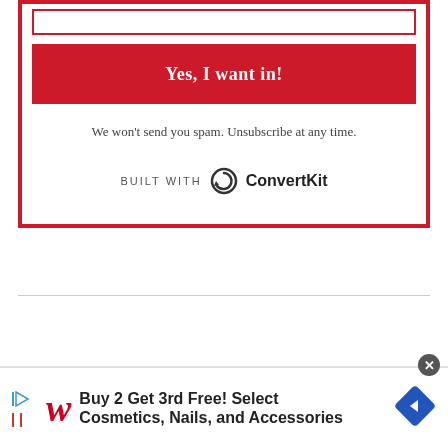[Figure (screenshot): Email signup form with a red 'Yes, I want in!' button, spam disclaimer text, and ConvertKit branding inside a red-bordered box]
We won't send you spam. Unsubscribe at any time.
[Figure (logo): BUILT WITH ConvertKit logo with circular arrow icon]
[Figure (screenshot): Walgreens advertisement banner: Buy 2 Get 3rd Free! Select Cosmetics, Nails, and Accessories]